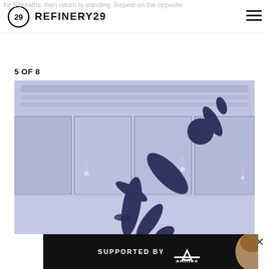for 5 breaths, then return to standing. Repeat on the opposite
REFINERY29
5 OF 8
[Figure (photo): A person performing a yoga pose (side angle or warrior variation) in a gym/studio setting with large windows and industrial ceiling. The image has a blue-purple tinted filter overlay. Below the main image is an advertisement banner reading 'SUPPORTED BY adidas' with the Adidas logo and a partial image of a person.]
SUPPORTED BY adidas